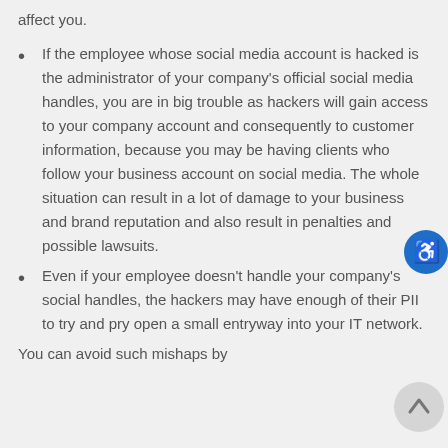affect you.
If the employee whose social media account is hacked is the administrator of your company's official social media handles, you are in big trouble as hackers will gain access to your company account and consequently to customer information, because you may be having clients who follow your business account on social media. The whole situation can result in a lot of damage to your business and brand reputation and also result in penalties and possible lawsuits.
Even if your employee doesn't handle your company's social handles, the hackers may have enough of their PII to try and pry open a small entryway into your IT network.
You can avoid such mishaps by